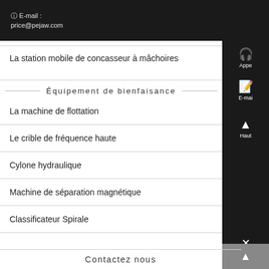E-mail : price@pejaw.com
La station mobile de concasseur à mâchoires
Équipement de bienfaisance
La machine de flottation
Le crible de fréquence haute
Cylone hydraulique
Machine de séparation magnétique
Classificateur Spirale
Contactez nous